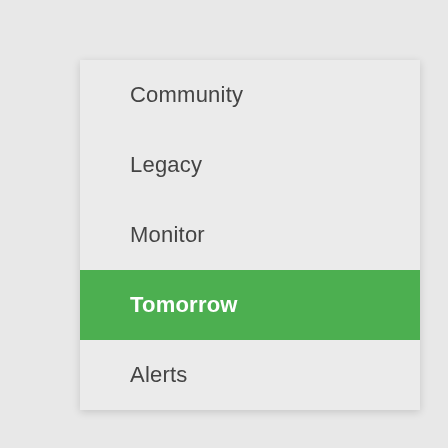Community
Legacy
Monitor
Tomorrow
Alerts